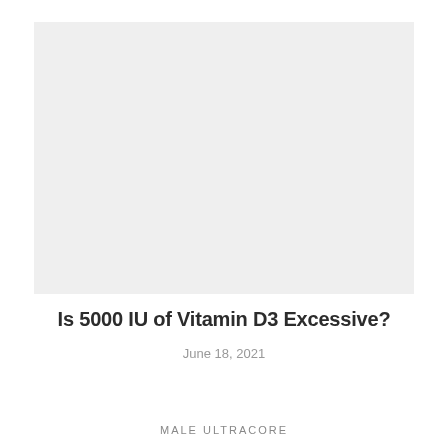[Figure (photo): Large rectangular image placeholder with light gray background, likely a photo related to Vitamin D3 supplements or health topic.]
Is 5000 IU of Vitamin D3 Excessive?
June 18, 2021
MALE ULTRACORE